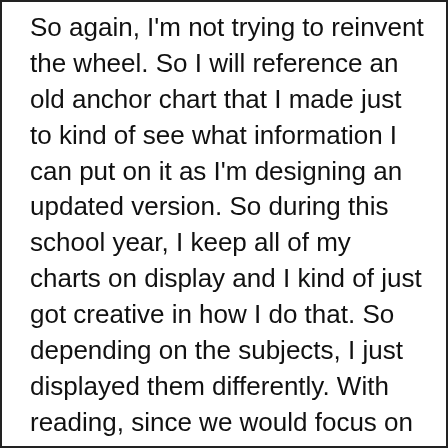So again, I'm not trying to reinvent the wheel. So I will reference an old anchor chart that I made just to kind of see what information I can put on it as I'm designing an updated version. So during this school year, I keep all of my charts on display and I kind of just got creative in how I do that. So depending on the subjects, I just displayed them differently. With reading, since we would focus on one chart per week since we were like really focusing on one skill set. Those charts pretty much never came off the wall. I had space above my whiteboard and I just stapled them to the wall.